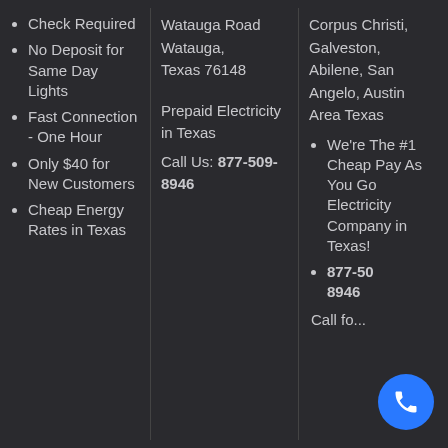Check Required
No Deposit for Same Day Lights
Fast Connection - One Hour
Only $40 for New Customers
Cheap Energy Rates in Texas
Watauga Road Watauga, Texas 76148
Prepaid Electricity in Texas
Call Us: 877-509-8946
Corpus Christi, Galveston, Abilene, San Angelo, Austin Area Texas
We're The #1 Cheap Pay As You Go Electricity Company in Texas!
877-509-8946
Call fo...